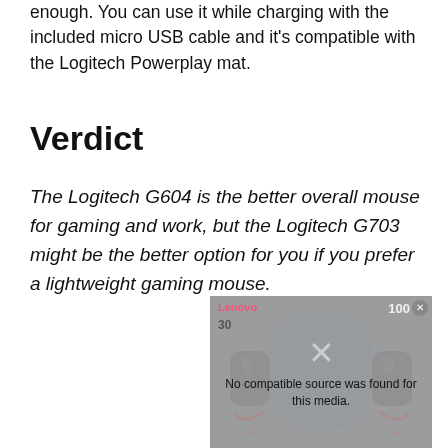enough. You can use it while charging with the included micro USB cable and it's compatible with the Logitech Powerplay mat.
Verdict
The Logitech G604 is the better overall mouse for gaming and work, but the Logitech G703 might be the better option for you if you prefer a lightweight gaming mouse.
[Figure (screenshot): A video player box showing 'No compatible source was found for this media.' with an X close button, Lenovo branding, and a score badge showing 100. The background shows a person holding gaming mice.]